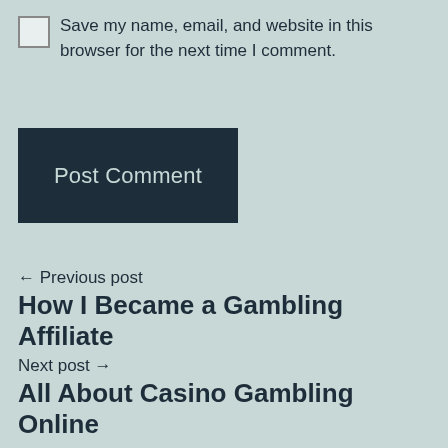Save my name, email, and website in this browser for the next time I comment.
Post Comment
← Previous post
How I Became a Gambling Affiliate
Next post →
All About Casino Gambling Online